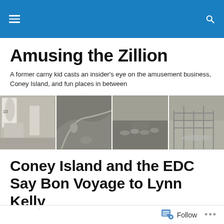Amusing the Zillion — site navigation header bar with hamburger menu and search icon
Amusing the Zillion
A former carny kid casts an insider's eye on the amusement business, Coney Island, and fun places in between
[Figure (photo): A horizontal strip of four black-and-white historical photographs: (1) A group of people, women in white dresses, man in a suit, at what appears to be an amusement park; (2) People on a winding road or path with a car; (3) A crowd of people from behind wearing hats at an outdoor venue; (4) A wooden roller coaster or structure under construction.]
Coney Island and the EDC Say Bon Voyage to Lynn Kelly
Follow ...